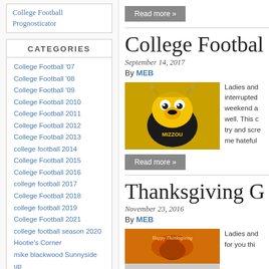College Football Prognosticator
Read more »
CATEGORIES
College Football '07
College Football '08
College Football '09
College Football 2010
College Football 2011
College Football 2012
College Football 2013
college football 2014
College Football 2015
College Football 2016
college football 2017
College Football 2018
college football 2019
College Football 2021
college football season 2020
Hootie's Corner
mike blackwood Sunnyside up
Over Easy Mike
College Footbal
September 14, 2017
By MEB
[Figure (photo): Missouri Tigers mascot Truman the Tiger in yellow and black costume at a game]
Ladies and interrupted weekend a well. This c try and scre me hateful
Read more »
Thanksgiving G
November 23, 2016
By MEB
[Figure (photo): Happy Thanksgiving themed image]
Ladies and for you thi